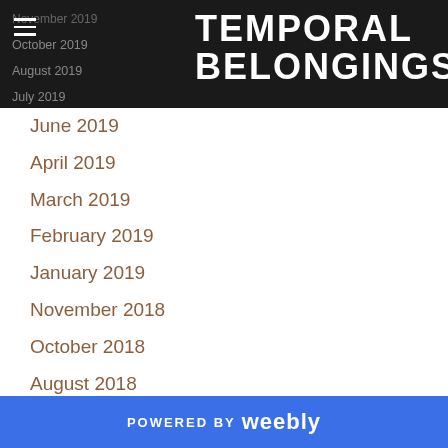TEMPORAL BELONGINGS
November 2019
October 2019
August 2019
July 2019
June 2019
April 2019
March 2019
February 2019
January 2019
November 2018
October 2018
August 2018
July 2018
June 2018
May 2018
April 2018
February 2018
POWERED BY weebly